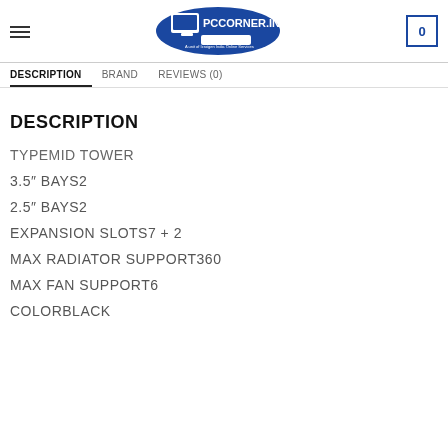PCCORNER.IN
DESCRIPTION
BRAND
REVIEWS (0)
DESCRIPTION
TYPEMID TOWER
3.5" BAYS2
2.5" BAYS2
EXPANSION SLOTS7 + 2
MAX RADIATOR SUPPORT360
MAX FAN SUPPORT6
COLORBLACK